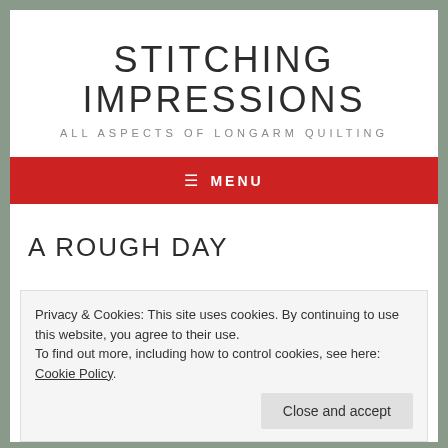STITCHING IMPRESSIONS
ALL ASPECTS OF LONGARM QUILTING
≡ MENU
A ROUGH DAY
Privacy & Cookies: This site uses cookies. By continuing to use this website, you agree to their use.
To find out more, including how to control cookies, see here: Cookie Policy
Close and accept